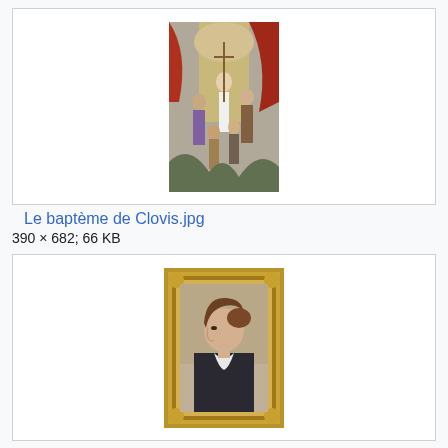[Figure (illustration): Painting of the Baptism of Clovis, a religious/historical scene with multiple figures in a classical architectural setting, colorful robes]
Le baptème de Clovis.jpg
390 × 682; 66 KB
[Figure (illustration): Portrait painting of a woman in profile facing left, wearing dark clothing with white collar, set in an ornate gold frame, 1880]
Legros Portrait de femme 1880.jpg
3,864 × 5,152; 4.34 MB